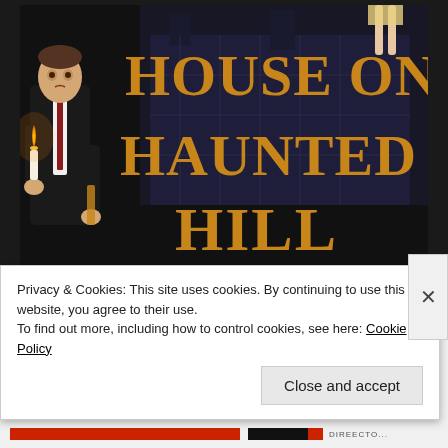[Figure (illustration): Movie poster for 'House on Haunted Hill' featuring Vincent Price holding a candle in a dark suit, large golden serif text title, with actors listed as Vincent Price, Carol Ohmart, Richard Long. A woman's legs visible hanging at top right.]
Privacy & Cookies: This site uses cookies. By continuing to use this website, you agree to their use.
To find out more, including how to control cookies, see here: Cookie Policy
Close and accept